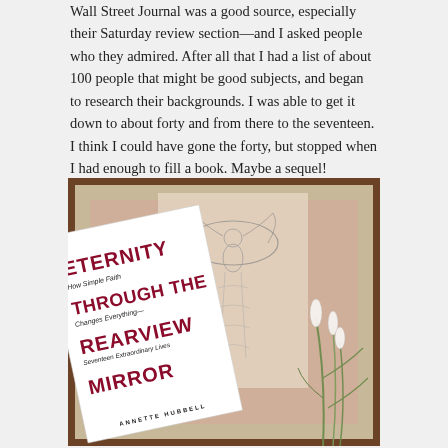Wall Street Journal was a good source, especially their Saturday review section—and I asked people who they admired. After all that I had a list of about 100 people that might be good subjects, and began to research their backgrounds. I was able to get it down to about forty and from there to the seventeen. I think I could have gone the forty, but stopped when I had enough to fill a book. Maybe a sequel!
[Figure (photo): A photograph of the book 'Eternity Through the Rearview Mirror: How Simple Faith Changes Everything — Seventeen Extraordinary Lives' by Annette Hubbell, leaning against a framed angel etching print, with a decorative grass plant beside it.]